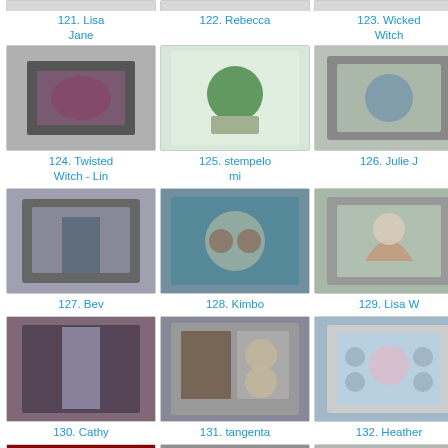[Figure (photo): Thumbnail image for item 121]
121. Lisa Jane
[Figure (photo): Thumbnail image for item 122]
122. Rebecca
[Figure (photo): Thumbnail image for item 123]
123. Wicked Witch
[Figure (photo): Thumbnail image for item 124]
124. Twisted Witch - Lin
[Figure (photo): Thumbnail image for item 125]
125. stempelomi
[Figure (photo): Thumbnail image for item 126]
126. Julie J
[Figure (photo): Thumbnail image for item 127]
127. Bev
[Figure (photo): Thumbnail image for item 128]
128. Kimbo
[Figure (photo): Thumbnail image for item 129]
129. Lisa W
[Figure (photo): Thumbnail image for item 130]
130. Cathy
[Figure (photo): Thumbnail image for item 131]
131. tangenta
[Figure (photo): Thumbnail image for item 132]
132. Heather
[Figure (photo): Thumbnail image for item 133 (partial)]
[Figure (photo): Thumbnail image for item 134 (partial)]
[Figure (photo): Thumbnail image for item 135 (partial)]